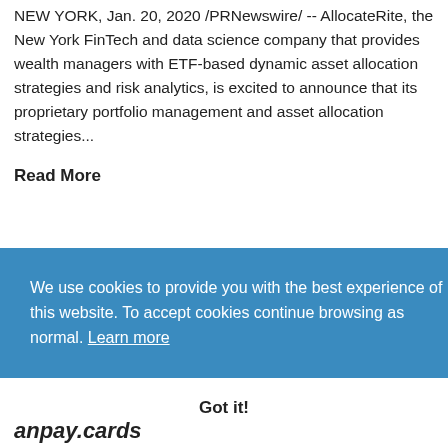NEW YORK, Jan. 20, 2020 /PRNewswire/ -- AllocateRite, the New York FinTech and data science company that provides wealth managers with ETF-based dynamic asset allocation strategies and risk analytics, is excited to announce that its proprietary portfolio management and asset allocation strategies...
Read More
We use cookies to provide you with the best experience of this website. To accept cookies continue browsing as normal. Learn more
Got it!
anpay.cards